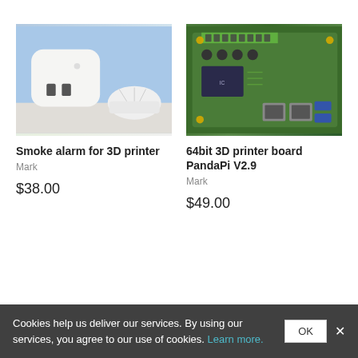[Figure (photo): Smoke alarm device and motion sensor for 3D printer, white plastic, outdoors background]
[Figure (photo): Green 64bit 3D printer board PandaPi V2.9 circuit board with connectors and ports]
Smoke alarm for 3D printer
Mark
$38.00
64bit 3D printer board PandaPi V2.9
Mark
$49.00
Cookies help us deliver our services. By using our services, you agree to our use of cookies. Learn more.